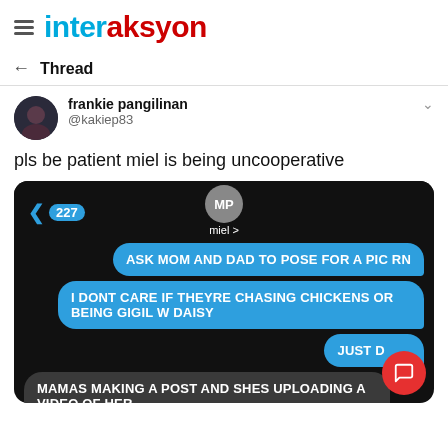interaksyon
Thread
frankie pangilinan @kakiep83
pls be patient miel is being uncooperative
[Figure (screenshot): iMessage screenshot showing a conversation with 'miel'. Blue sent bubbles say: 'ASK MOM AND DAD TO POSE FOR A PIC RN', 'I DONT CARE IF THEYRE CHASING CHICKENS OR BEING GIGIL W DAISY', 'JUST D[O IT]'. Grey received bubble says: 'MAMAS MAKING A POST AND SHES UPLOADING A VIDEO OF HER'. A red circular button with a chat icon appears over the screenshot.]